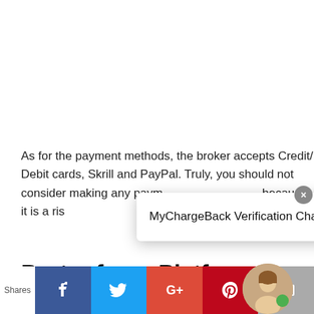As for the payment methods, the broker accepts Credit/ Debit cards, Skrill and PayPal. Truly, you should not consider making any paym... because it is a ris...
[Figure (screenshot): MyChargeBack Verification Chat popup overlay with close button]
Protonforex Platform
[Figure (infographic): Social sharing bar at bottom with Facebook, Twitter, Google+, Pinterest, Email buttons and a person photo with green online indicator]